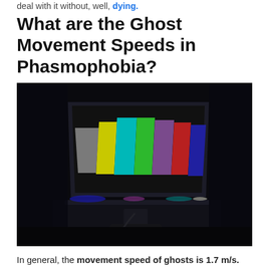deal with it without, well, dying.
What are the Ghost Movement Speeds in Phasmophobia?
[Figure (photo): Dark room with a television displaying color bars (SMPTE color bars pattern) — grey, yellow, cyan, green, purple, red, blue vertical bars — sitting on a stand/unit in a very dark environment, showing blue glow at the bottom edges.]
In general, the movement speed of ghosts is 1.7 m/s. Once it starts to chase you with the intention to kill, it can increase up to 1.65 times of its original